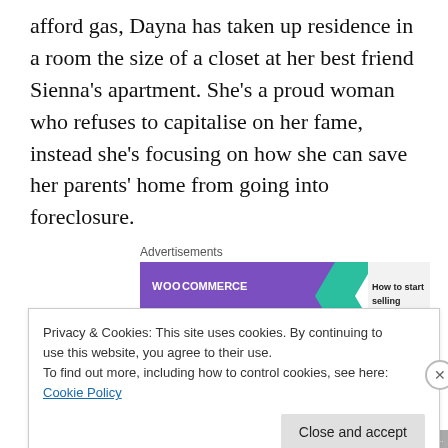afford gas, Dayna has taken up residence in a room the size of a closet at her best friend Sienna's apartment. She's a proud woman who refuses to capitalise on her fame, instead she's focusing on how she can save her parents' home from going into foreclosure.
[Figure (other): WooCommerce advertisement banner with purple background, teal arrow, orange shape, and text 'How to start selling']
An opportunity arrives in the form of a billboard asking for information on the hit-and-run death of local shop worker
Privacy & Cookies: This site uses cookies. By continuing to use this website, you agree to their use.
To find out more, including how to control cookies, see here: Cookie Policy